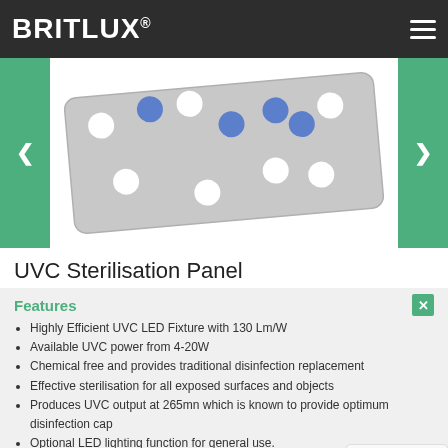BRITLUX®
[Figure (photo): UVC Sterilisation Panel product image showing a grey rectangular panel with blue and white circular LED holes arranged in a grid pattern, with green navigation arrows on both sides]
UVC Sterilisation Panel
Features
Highly Efficient UVC LED Fixture with 130 Lm/W
Available UVC power from 4-20W
Chemical free and provides traditional disinfection replacement
Effective sterilisation for all exposed surfaces and objects
Produces UVC output at 265mn which is known to provide optimum disinfection cap
Optional LED lighting function for general use.
Compatible with presence detector.
Easy installation and replacement.